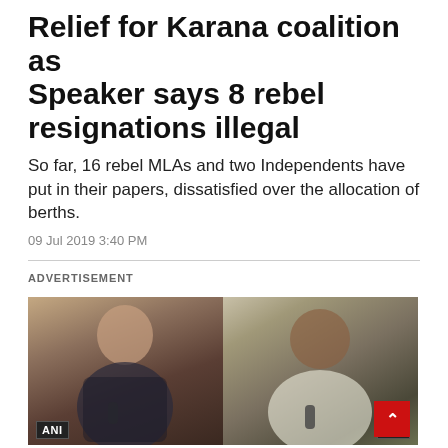Relief for Karana coalition as Speaker says 8 rebel resignations illegal
So far, 16 rebel MLAs and two Independents have put in their papers, dissatisfied over the allocation of berths.
09 Jul 2019 3:40 PM
ADVERTISEMENT
[Figure (photo): Two side-by-side video stills from ANI news coverage. Left: an older man with a moustache in a dark outfit speaking, seated indoors. Right: a middle-aged man in a white outfit speaking outdoors with a microphone. Both frames carry the ANI news logo.]